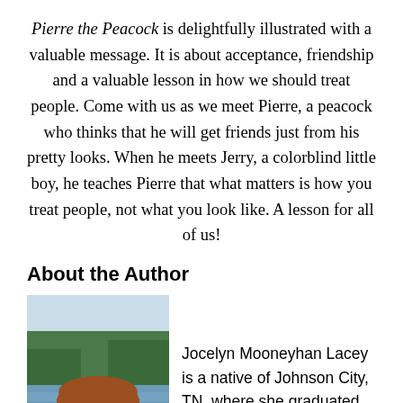Pierre the Peacock is delightfully illustrated with a valuable message. It is about acceptance, friendship and a valuable lesson in how we should treat people. Come with us as we meet Pierre, a peacock who thinks that he will get friends just from his pretty looks. When he meets Jerry, a colorblind little boy, he teaches Pierre that what matters is how you treat people, not what you look like. A lesson for all of us!
About the Author
[Figure (photo): Author photo: woman with long reddish-brown hair, sunglasses, smiling, wearing a purple top, with a lake and trees in the background]
Jocelyn Mooneyhan Lacey is a native of Johnson City, TN, where she graduated from Science Hill High School and